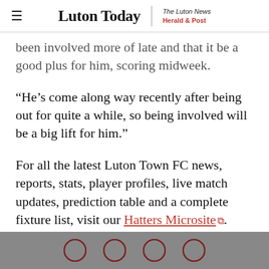Luton Today | The Luton News Herald & Post
been involved more of late and that it be a good plus for him, scoring midweek.
“He’s come along way recently after being out for quite a while, so being involved will be a big lift for him.”
For all the latest Luton Town FC news, reports, stats, player profiles, live match updates, prediction table and a complete fixture list, visit our Hatters Microsite.